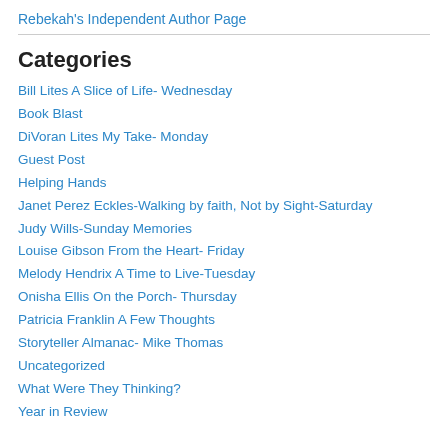Rebekah's Independent Author Page
Categories
Bill Lites A Slice of Life- Wednesday
Book Blast
DiVoran Lites My Take- Monday
Guest Post
Helping Hands
Janet Perez Eckles-Walking by faith, Not by Sight-Saturday
Judy Wills-Sunday Memories
Louise Gibson From the Heart- Friday
Melody Hendrix A Time to Live-Tuesday
Onisha Ellis On the Porch- Thursday
Patricia Franklin A Few Thoughts
Storyteller Almanac- Mike Thomas
Uncategorized
What Were They Thinking?
Year in Review